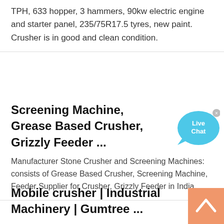TPH, 633 hopper, 3 hammers, 90kw electric engine and starter panel, 235/75R17.5 tyres, new paint. Crusher is in good and clean condition.
Screening Machine, Grease Based Crusher, Grizzly Feeder ...
Manufacturer Stone Crusher and Screening Machines: consists of Grease Based Crusher, Screening Machine, Feeder Supplier for Crusher, Grizzly Feeder in India.
Mobile crusher | Industrial Machinery | Gumtree ...
Avant 745 with Kubota Engine 50hp 1400 kg lift capacity Excavator front end loader mini digger . ... CONE